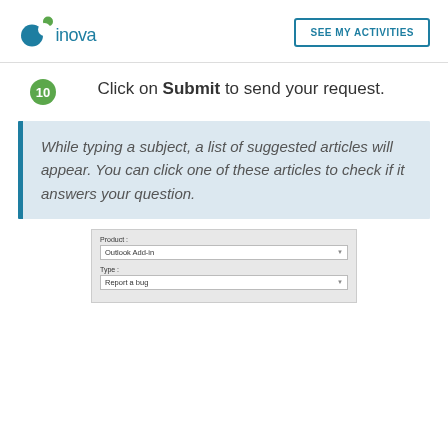[Figure (logo): Inova logo with blue and green circles and 'inova' text in teal]
SEE MY ACTIVITIES
Click on Submit to send your request.
While typing a subject, a list of suggested articles will appear. You can click one of these articles to check if it answers your question.
[Figure (screenshot): Screenshot of a form with Product field showing 'Outlook Add-in' and Type field showing 'Report a bug']